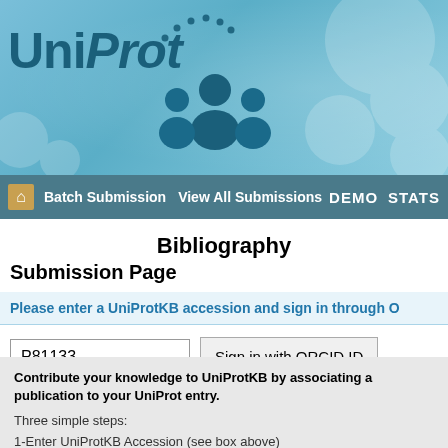[Figure (logo): UniProt logo with blue background, people icon, and dot decoration]
Batch Submission  View All Submissions  DEMO  STATS
Bibliography Submission Page
Please enter a UniProtKB accession and sign in through O...
P81133  Sign in with ORCID ID
Contribute your knowledge to UniProtKB by associating a publication to your UniProt entry.
Three simple steps:
1-Enter UniProtKB Accession (see box above)
2-Sign in with ORCID